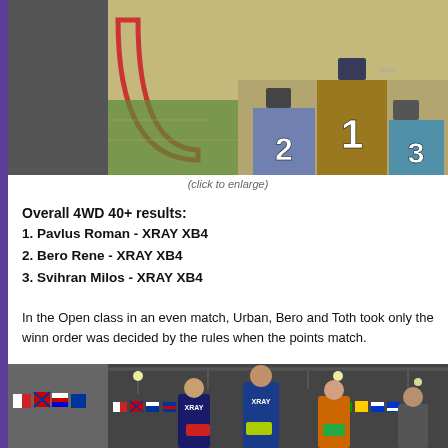[Figure (photo): Podium with three racers standing on numbered positions 1, 2, and 3 at an indoor RC car racing event. The podium is decorated with large white numbers on stone-textured blocks.]
(click to enlarge)
Overall 4WD 40+ results:
1. Pavlus Roman - XRAY XB4
2. Bero Rene - XRAY XB4
3. Svihran Milos - XRAY XB4
In the Open class in an even match, Urban, Bero and Toth took only the winn order was decided by the rules when the points match.
[Figure (photo): Group photo of RC car racers at an indoor event with international flags visible in the background. Racers are holding their RC cars and trophies.]